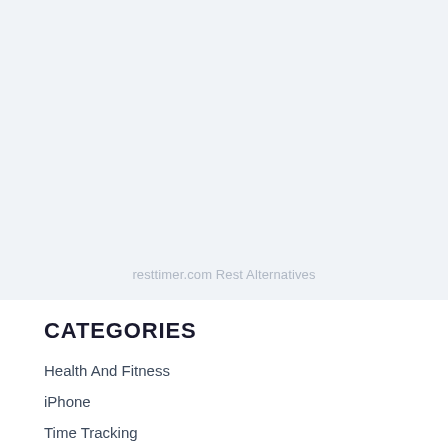[Figure (other): Large light blue-grey empty area with centered watermark text reading 'resttimer.com Rest Alternatives']
CATEGORIES
Health And Fitness
iPhone
Time Tracking